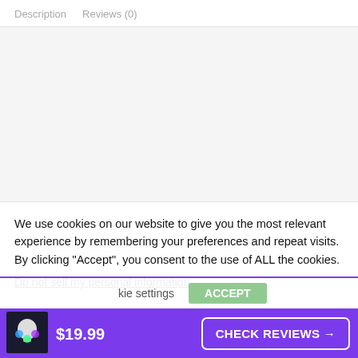Description   Reviews (0)
We use cookies on our website to give you the most relevant experience by remembering your preferences and repeat visits. By clicking “Accept”, you consent to the use of ALL the cookies.
Do not sell my personal information.
kie settings   ACCEPT
$19.99   CHECK REVIEWS →